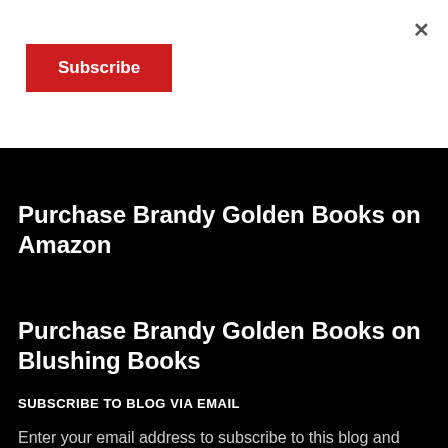×
Subscribe
Purchase Brandy Golden Books on Amazon
Purchase Brandy Golden Books on Blushing Books
SUBSCRIBE TO BLOG VIA EMAIL
Enter your email address to subscribe to this blog and receive notifications of new posts by email.